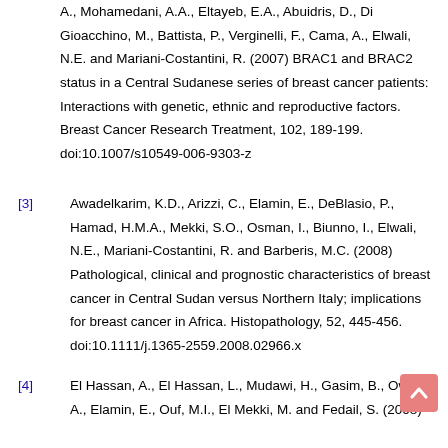A., Mohamedani, A.A., Eltayeb, E.A., Abuidris, D., Di Gioacchino, M., Battista, P., Verginelli, F., Cama, A., Elwali, N.E. and Mariani-Costantini, R. (2007) BRAC1 and BRAC2 status in a Central Sudanese series of breast cancer patients: Interactions with genetic, ethnic and reproductive factors. Breast Cancer Research Treatment, 102, 189-199. doi:10.1007/s10549-006-9303-z
[3] Awadelkarim, K.D., Arizzi, C., Elamin, E., DeBlasio, P., Hamad, H.M.A., Mekki, S.O., Osman, I., Biunno, I., Elwali, N.E., Mariani-Costantini, R. and Barberis, M.C. (2008) Pathological, clinical and prognostic characteristics of breast cancer in Central Sudan versus Northern Italy; implications for breast cancer in Africa. Histopathology, 52, 445-456. doi:10.1111/j.1365-2559.2008.02966.x
[4] El Hassan, A., El Hassan, L., Mudawi, H., Gasim, B., Own, A., Elamin, E., Ouf, M.I., El Mekki, M. and Fedail, S. (2008)